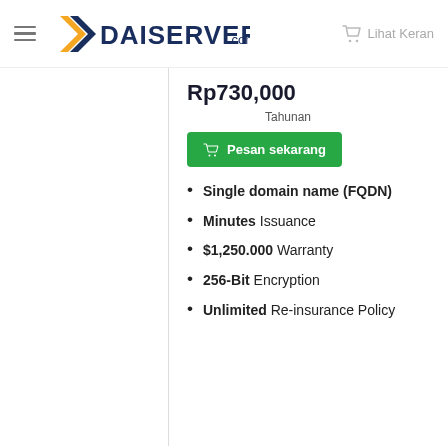DAISERVER.com — Lihat Keran
Rp730,000
Tahunan
Pesan sekarang
Single domain name (FQDN)
Minutes Issuance
$1,250.000 Warranty
256-Bit Encryption
Unlimited Re-insurance Policy